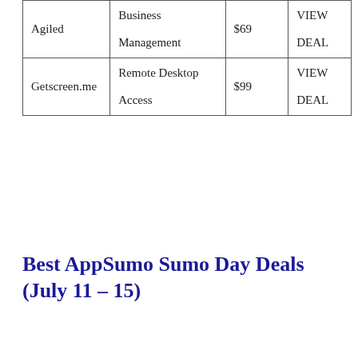| Deal Name | Category/Deal Type | Lifetime Price |  |
| --- | --- | --- | --- |
| Agiled | Business Management | $69 | VIEW DEAL |
| Getscreen.me | Remote Desktop Access | $99 | VIEW DEAL |
Best AppSumo Sumo Day Deals (July 11 – 15)
| Deal Name | Category/Deal Type | Lifetime Price |  |
| --- | --- | --- | --- |
| RankTracker | SEO Rank Tracker | $149 | VIEW DEAL |
| RADAAR | Social Media Scheduler | $59 | VIEW DEAL |